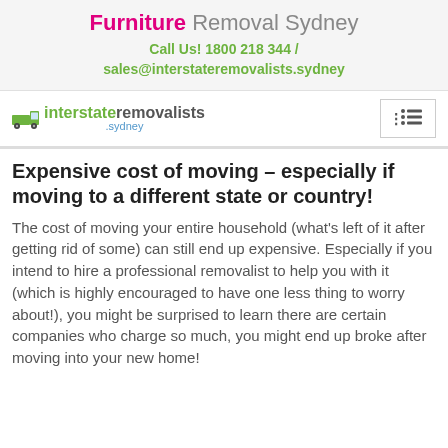Furniture Removal Sydney
Call Us! 1800 218 344 / sales@interstateremovalists.sydney
[Figure (logo): Interstate Removalists Sydney logo with green truck icon and green/grey text]
Expensive cost of moving – especially if moving to a different state or country!
The cost of moving your entire household (what's left of it after getting rid of some) can still end up expensive. Especially if you intend to hire a professional removalist to help you with it (which is highly encouraged to have one less thing to worry about!), you might be surprised to learn there are certain companies who charge so much, you might end up broke after moving into your new home!